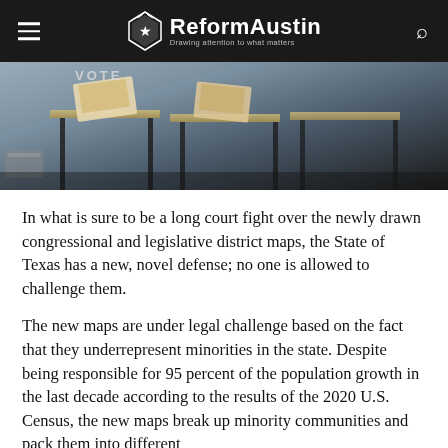ReformAustin — Drawing attention to what matters
[Figure (photo): Photograph of voting booths with ballots at a polling location, showing a VOTE sign and voting equipment in dark/neutral tones]
In what is sure to be a long court fight over the newly drawn congressional and legislative district maps, the State of Texas has a new, novel defense; no one is allowed to challenge them.
The new maps are under legal challenge based on the fact that they underrepresent minorities in the state. Despite being responsible for 95 percent of the population growth in the last decade according to the results of the 2020 U.S. Census, the new maps break up minority communities and pack them into different